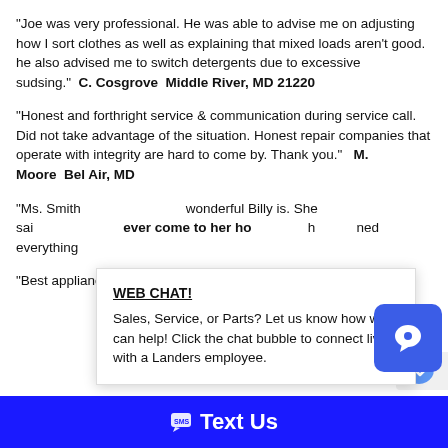“Joe was very professional. He was able to advise me on adjusting how I sort clothes as well as explaining that mixed loads aren’t good. he also advised me to switch detergents due to excessive sudsing.”  C. Cosgrove  Middle River, MD 21220
“Honest and forthright service & communication during service call. Did not take advantage of the situation. Honest repair companies that operate with integrity are hard to come by. Thank you.”   M. Moore  Bel Air, MD
“Ms. Smith [partial] wonderful Billy is. She sai[partial] ever come to her ho[partial] h[partial]ned everything[partial]
[Figure (screenshot): Web chat popup overlay with title 'WEB CHAT!' and text 'Sales, Service, or Parts? Let us know how we can help! Click the chat bubble to connect live with a Landers employee.' alongside a blue chat bubble button icon.]
“Best appliance service ever – will call as needed!”
Text Us